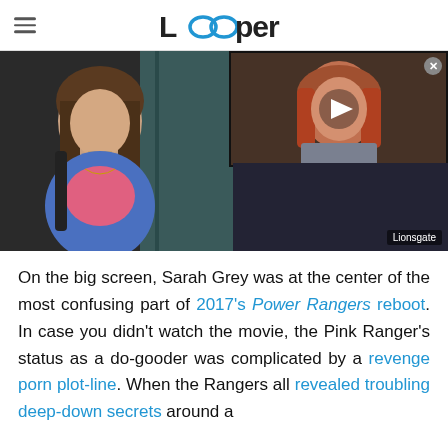Looper
[Figure (photo): Two photos side by side: left shows a young woman (Sarah Grey) in athletic wear with a backpack; right shows a red-haired woman (from Power Rangers 2017) with a video play button overlay. Lionsgate credit at bottom right.]
On the big screen, Sarah Grey was at the center of the most confusing part of 2017's Power Rangers reboot. In case you didn't watch the movie, the Pink Ranger's status as a do-gooder was complicated by a revenge porn plot-line. When the Rangers all revealed troubling deep-down secrets around a